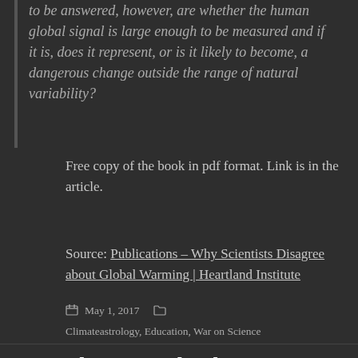to be answered, however, are whether the human global signal is large enough to be measured and if it is, does it represent, or is it likely to become, a dangerous change outside the range of natural variability?
Free copy of the book in pdf format. Link is in the article.
Source: Publications – Why Scientists Disagree about Global Warming | Heartland Institute
Posted May 1, 2017   Categories Climateastrology, Education, War on Science
The WaPo's lovely